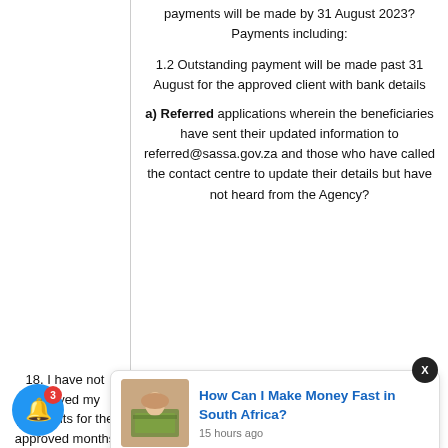payments will be made by 31 August 2023? Payments including:
1.2 Outstanding payment will be made past 31 August for the approved client with bank details
a) Referred applications wherein the beneficiaries have sent their updated information to referred@sassa.gov.za and those who have called the contact centre to update their details but have not heard from the Agency?
18. I have not received my payments for the approved months before April 2023 what do I do?
[Figure (infographic): Advertisement banner: 'How Can I Make Money Fast in South Africa?' with image of person holding cash, posted 15 hours ago]
b) Cancelled applications who requested...